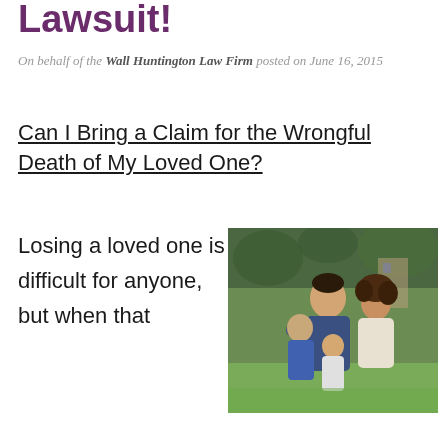Lawsuit!
On behalf of the Wall Huntington Law Firm posted on June 16, 2015
Can I Bring a Claim for the Wrongful Death of My Loved One?
[Figure (photo): A man and woman embracing two children in a group hug outdoors on a green lawn]
Losing a loved one is difficult for anyone, but when that loss is the result of the negligence of someone, the devastation can be that